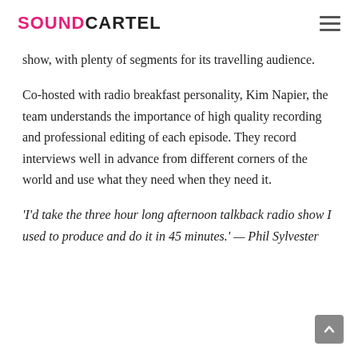SOUNDCARTEL
show, with plenty of segments for its travelling audience.
Co-hosted with radio breakfast personality, Kim Napier, the team understands the importance of high quality recording and professional editing of each episode. They record interviews well in advance from different corners of the world and use what they need when they need it.
‘I’d take the three hour long afternoon talkback radio show I used to produce and do it in 45 minutes.’ — Phil Sylvester